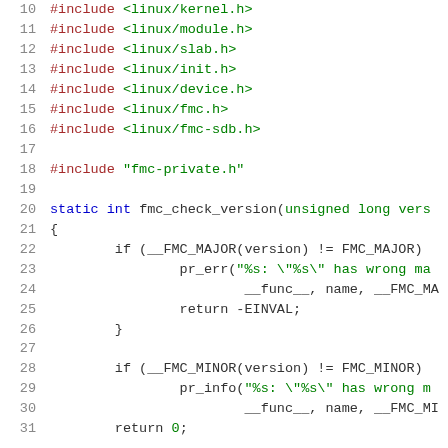Source code listing lines 10-31 of a C file showing #include directives and fmc_check_version function
10  #include <linux/kernel.h>
11  #include <linux/module.h>
12  #include <linux/slab.h>
13  #include <linux/init.h>
14  #include <linux/device.h>
15  #include <linux/fmc.h>
16  #include <linux/fmc-sdb.h>
17
18  #include "fmc-private.h"
19
20  static int fmc_check_version(unsigned long vers
21  {
22          if (__FMC_MAJOR(version) != FMC_MAJOR)
23                  pr_err("%s: \"%s\" has wrong ma
24                          __func__, name, __FMC_MA
25                  return -EINVAL;
26          }
27
28          if (__FMC_MINOR(version) != FMC_MINOR)
29                  pr_info("%s: \"%s\" has wrong m
30                          __func__, name, __FMC_MI
31          return 0;